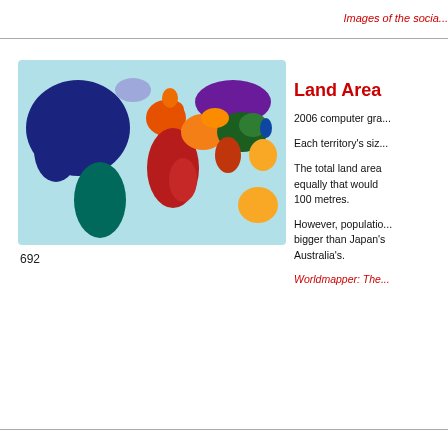Images of the socia...
[Figure (map): 2006 computer generated world map showing territories sized by land area, with regions colored by continent/grouping.]
692
Land Area
2006 computer gra...
Each territory's siz...
The total land area... equally that would... 100 metres.
However, populatio... bigger than Japan's... Australia's.
Worldmapper: The ...